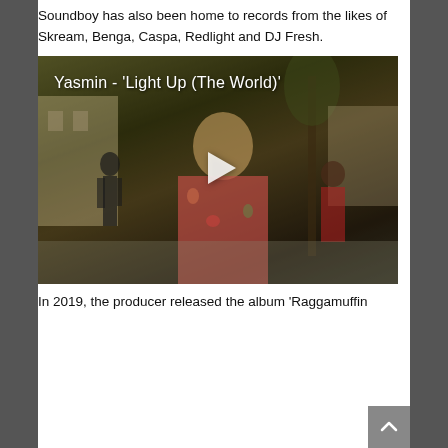Soundboy has also been home to records from the likes of Skream, Benga, Caspa, Redlight and DJ Fresh.
[Figure (screenshot): Video thumbnail for Yasmin - 'Light Up (The World)' showing a woman in floral clothing with a play button overlay in a street scene]
In 2019, the producer released the album 'Raggamuffin